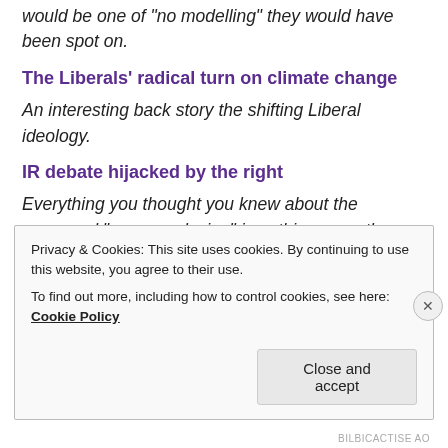would be one of “no modelling” they would have been spot on.
The Liberals’ radical turn on climate change
An interesting back story the shifting Liberal ideology.
IR debate hijacked by the right
Everything you thought you knew about the supposed “wage explosion” is nothing more than spin designed to undermine workers rights.
Unleash metrics on the climate change sceptics!
Privacy & Cookies: This site uses cookies. By continuing to use this website, you agree to their use.
To find out more, including how to control cookies, see here: Cookie Policy
BILBICACTISE AO